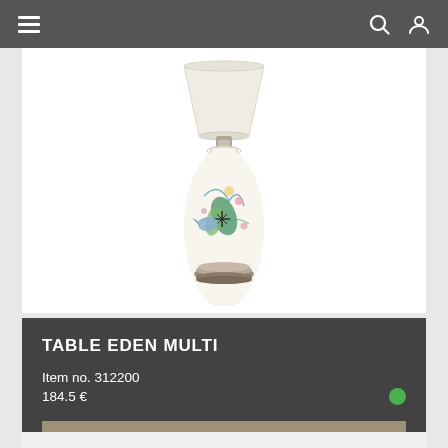Navigation bar with menu, search, and account icons
[Figure (photo): A decorative table lamp called 'Table Eden Multi'. The lamp has a floral and bird-patterned ceramic vase base in cream/white with multicolor botanical motifs including birds, flowers and tropical leaves in blues, greens, pinks and yellows. The base sits on a bronze/antique brass circular foot. Above the base is a plain cream/ivory tapered drum lampshade.]
TABLE EDEN MULTI
Item no. 312200
184.5 €
CHOOSE